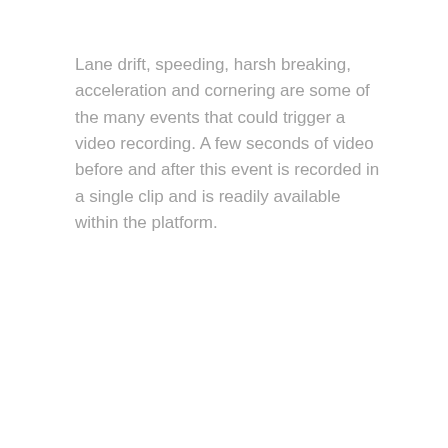Lane drift, speeding, harsh breaking, acceleration and cornering are some of the many events that could trigger a video recording. A few seconds of video before and after this event is recorded in a single clip and is readily available within the platform.